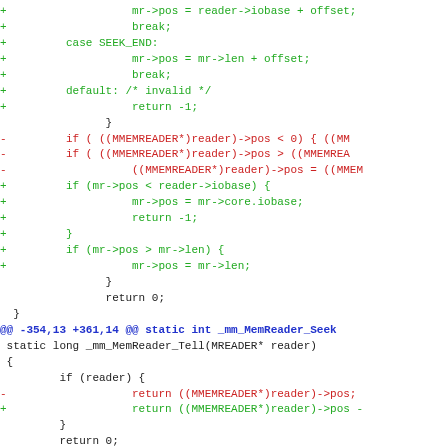Code diff showing changes to _mm_MemReader_Seek and _mm_MemReader_Tell functions
[Figure (screenshot): Unified diff of C source code showing additions (green, +) and removals (red, -) in memory reader seek and tell functions]